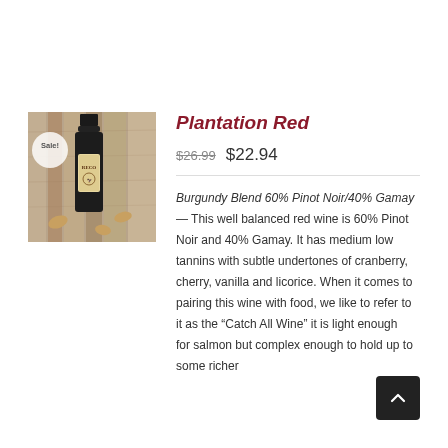[Figure (photo): Photo of a red wine bottle (Plantation Red) on a rustic wooden background with cork pieces, marked with a circular 'Sale!' badge overlay.]
Plantation Red
$26.99  $22.94
Burgundy Blend 60% Pinot Noir/40% Gamay — This well balanced red wine is 60% Pinot Noir and 40% Gamay. It has medium low tannins with subtle undertones of cranberry, cherry, vanilla and licorice. When it comes to pairing this wine with food, we like to refer to it as the "Catch All Wine" it is light enough for salmon but complex enough to hold up to some richer